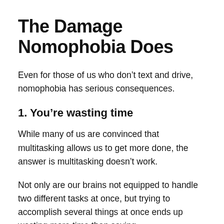The Damage Nomophobia Does
Even for those of us who don’t text and drive, nomophobia has serious consequences.
1. You’re wasting time
While many of us are convinced that multitasking allows us to get more done, the answer is multitasking doesn’t work.
Not only are our brains not equipped to handle two different tasks at once, but trying to accomplish several things at once ends up wasting more time than saving.